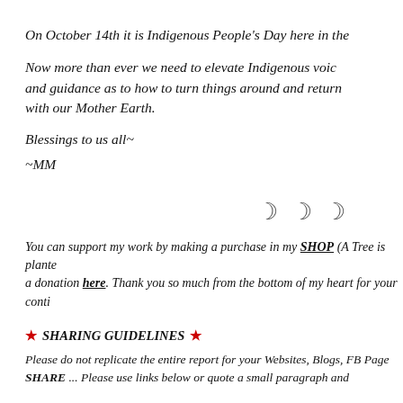On October 14th it is Indigenous People's Day here in the
Now more than ever we need to elevate Indigenous voices and guidance as to how to turn things around and return with our Mother Earth.
Blessings to us all~
~MM
[Figure (illustration): Three crescent moon symbols (   )]
You can support my work by making a purchase in my SHOP (A Tree is planted a donation here. Thank you so much from the bottom of my heart for your conti
★ SHARING GUIDELINES ★
Please do not replicate the entire report for your Websites, Blogs, FB Page SHARE ... Please use links below or quote a small paragraph and